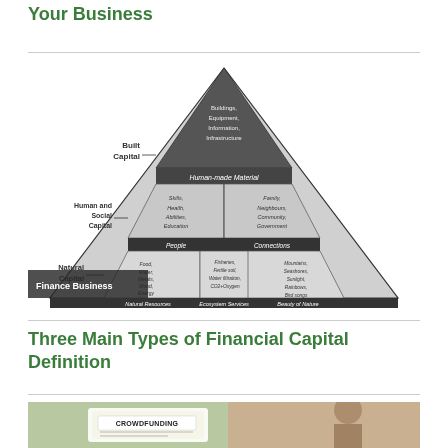Your Business
[Figure (infographic): Pyramid diagram showing three types of capital: Built Capital (top, dark gray with Buildings, Equipment, Information, Infrastructure and Human-made Material layer), Human and Social Capital (middle, light gray with People: Skills, Health, Abilities, Education and Connections: Family, Neighbours, Community, Government), and Natural Capital (bottom, light gray with Natural Resources: Food, Water, Metals, Wood, Energy; Ecosystem Services: Fisheries, Fertile soil, Water filtration, CO2+Oxygen; Beauty of Nature: Mountains, Seashores, Sunlight, Rainbows, Bird songs). A 'Finance Business' label overlays the bottom-left corner.]
Three Main Types of Financial Capital Definition
[Figure (photo): Photo of a person looking at a tablet or screen showing a crowdfunding graphic/presentation]